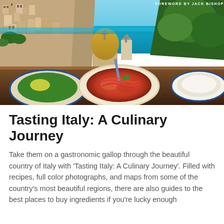[Figure (photo): Scenic photo of Positano/Amalfi Coast Italy showing colorful cliffside buildings, a golden church dome, vivid turquoise sea, lush green vegetation, and a foreground restaurant table with plates of pasta, greens, and other Italian dishes.]
Tasting Italy: A Culinary Journey
Take them on a gastronomic gallop through the beautiful country of Italy with 'Tasting Italy: A Culinary Journey'. Filled with recipes, full color photographs, and maps from some of the country's most beautiful regions, there are also guides to the best places to buy ingredients if you're lucky enough to visit.